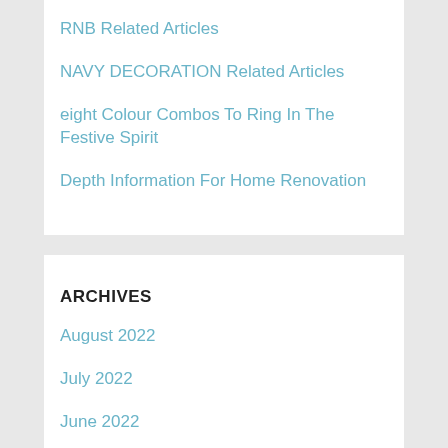RNB Related Articles
NAVY DECORATION Related Articles
eight Colour Combos To Ring In The Festive Spirit
Depth Information For Home Renovation
ARCHIVES
August 2022
July 2022
June 2022